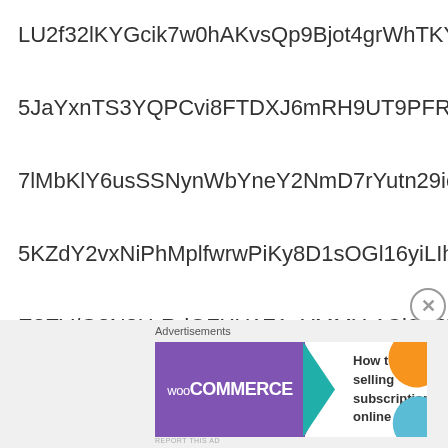LU2f32lKYGcik7w0hAKvsQp9Bjot4grWhTKYxOn224
5JaYxnTS3YQPCvi8FTDXJ6mRH9UT9PFRVFMmQcJi
7lMbKlY6usSSNynWbYneY2NmD7rYutn29ieKCsF9B
5KZdY2vxNiPhMplfwrwPiKy8D1sOGl16yiLIhYCWga
E3EV/G3N2HrRdOFXU1Z1eYMMYr1Ci6C0V/wVspeI
XUVWL6MITKB2Q7Khw0bzU/xaH8iiEZtAcgogH86d
[Figure (infographic): WooCommerce advertisement banner: purple box with WooCommerce logo and arrow, text 'How to start selling subscriptions online', orange and blue decorative blobs on right side. Labeled 'Advertisements' above.]